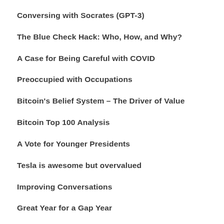Conversing with Socrates (GPT-3)
The Blue Check Hack: Who, How, and Why?
A Case for Being Careful with COVID
Preoccupied with Occupations
Bitcoin's Belief System – The Driver of Value
Bitcoin Top 100 Analysis
A Vote for Younger Presidents
Tesla is awesome but overvalued
Improving Conversations
Great Year for a Gap Year